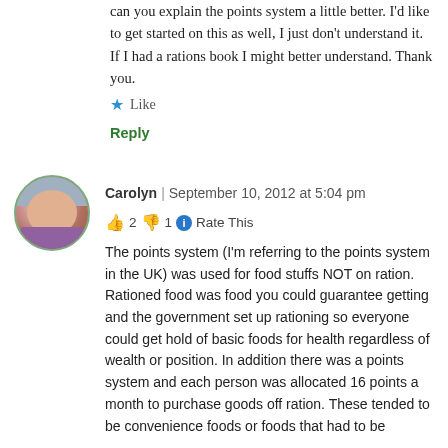can you explain the points system a little better. I'd like to get started on this as well, I just don't understand it. If I had a rations book I might better understand. Thank you.
★ Like
Reply
Carolyn | September 10, 2012 at 5:04 pm
👍 2 👎 1 ℹ Rate This
The points system (I'm referring to the points system in the UK) was used for food stuffs NOT on ration. Rationed food was food you could guarantee getting and the government set up rationing so everyone could get hold of basic foods for health regardless of wealth or position. In addition there was a points system and each person was allocated 16 points a month to purchase goods off ration. These tended to be convenience foods or foods that had to be